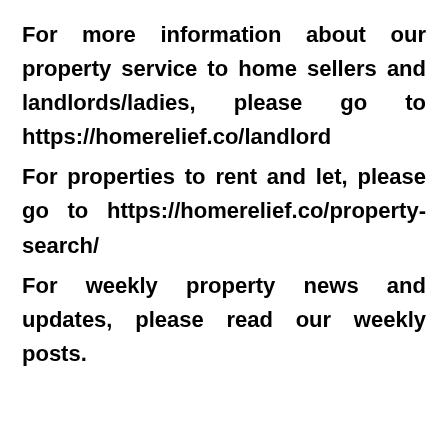For more information about our property service to home sellers and landlords/ladies, please go to https://homerelief.co/landlord
For properties to rent and let, please go to https://homerelief.co/property-search/
For weekly property news and updates, please read our weekly posts.